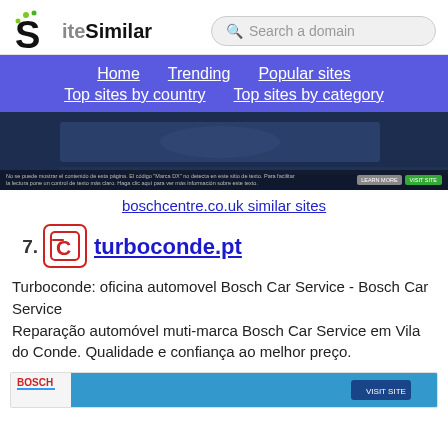[Figure (screenshot): SiteSimilar website header with logo and search bar]
Home  Trending  Popular sites  Top sites by country  Top sites by category
[Figure (screenshot): Partial screenshot of boschcentre.co.uk website]
boschcentre.co.uk similar sites
7. turboconde.pt
Turboconde: oficina automovel Bosch Car Service - Bosch Car Service Reparação automóvel muti-marca Bosch Car Service em Vila do Conde. Qualidade e confiança ao melhor preço.
[Figure (screenshot): Partial screenshot of turboconde.pt website showing Bosch Car Service branding]